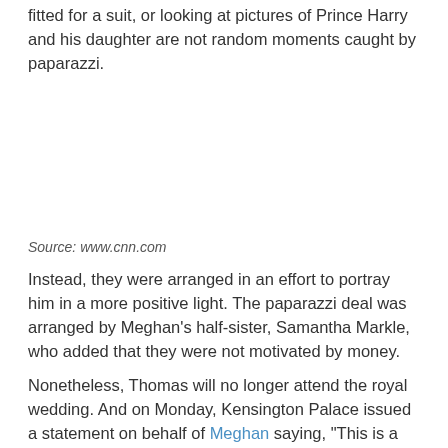fitted for a suit, or looking at pictures of Prince Harry and his daughter are not random moments caught by paparazzi.
Source: www.cnn.com
Instead, they were arranged in an effort to portray him in a more positive light. The paparazzi deal was arranged by Meghan's half-sister, Samantha Markle, who added that they were not motivated by money.
Nonetheless, Thomas will no longer attend the royal wedding. And on Monday, Kensington Palace issued a statement on behalf of Meghan saying, "This is a deeply